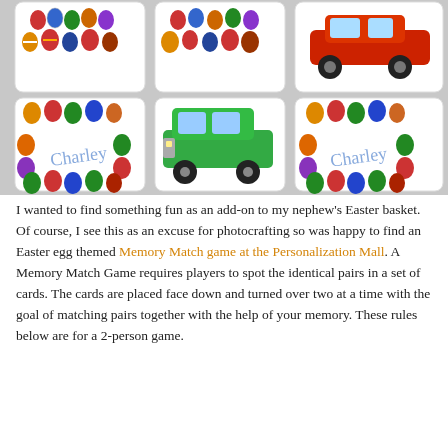[Figure (photo): A grid of Easter egg memory match game cards showing colorful Easter eggs and toy cars. Cards include eggs arranged around the word 'Charley', a green SUV card, and a red car card partially visible.]
I wanted to find something fun as an add-on to my nephew's Easter basket. Of course, I see this as an excuse for photocrafting so was happy to find an Easter egg themed Memory Match game at the Personalization Mall. A Memory Match Game requires players to spot the identical pairs in a set of cards. The cards are placed face down and turned over two at a time with the goal of matching pairs together with the help of your memory. These rules below are for a 2-person game.